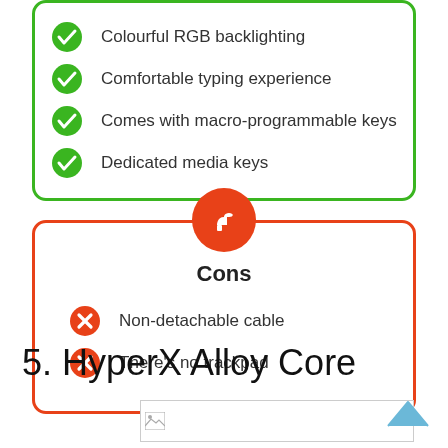Colourful RGB backlighting
Comfortable typing experience
Comes with macro-programmable keys
Dedicated media keys
Cons
Non-detachable cable
There's no trackpad
5. HyperX Alloy Core
[Figure (photo): Product image placeholder for HyperX Alloy Core]